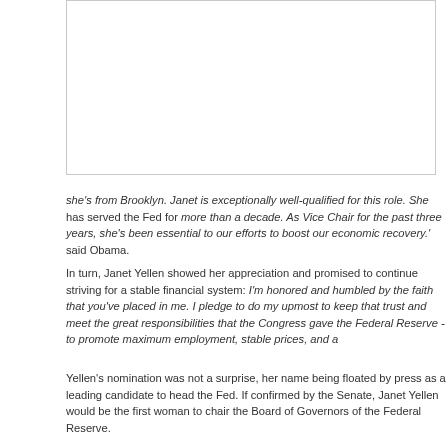[Figure (photo): Photograph area (partially visible, cropped at top and right edges) — white/blank area with a light grey border visible at bottom and left.]
she's from Brooklyn. Janet is exceptionally well-qualified for this role. She has served the Fed for more than a decade. As Vice Chair for the past three years, she's been essential to our efforts to boost our economic recovery.' said Obama.
In turn, Janet Yellen showed her appreciation and promised to continue striving for a stable economy and a stable financial system: I'm honored and humbled by the faith that you've placed in me. I pledge to do my upmost to keep that trust and meet the great responsibilities that the Congress gave the Federal Reserve - to promote maximum employment, stable prices, and a stable financial system.
Yellen's nomination was not a surprise, her name being floated by press as a leading candidate to head the Fed. If confirmed by the Senate, Janet Yellen would be the first woman to chair the Board of Governors of the Federal Reserve.